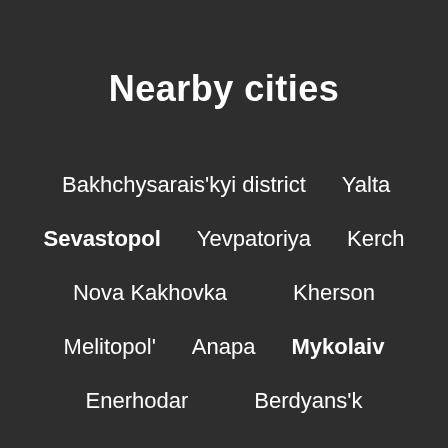Nearby cities
Bakhchysarais'kyi district    Yalta
Sevastopol    Yevpatoriya    Kerch
Nova Kakhovka    Kherson
Melitopol'    Anapa    Mykolaiv
Enerhodar    Berdyans'k